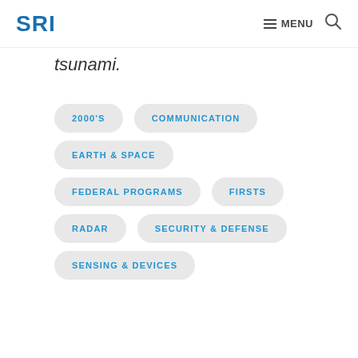SRI  MENU
tsunami.
2000'S
COMMUNICATION
EARTH & SPACE
FEDERAL PROGRAMS
FIRSTS
RADAR
SECURITY & DEFENSE
SENSING & DEVICES